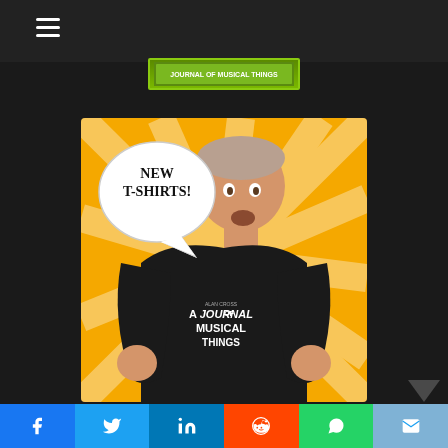[Figure (screenshot): Website screenshot showing a dark header bar with hamburger menu icon, a small green banner image, and a promotional photo of a man wearing a black 'A Journal of Musical Things' t-shirt against a yellow sunburst background with a speech bubble saying 'NEW T-SHIRTS!']
Social share bar: Facebook, Twitter, LinkedIn, Reddit, WhatsApp, Email